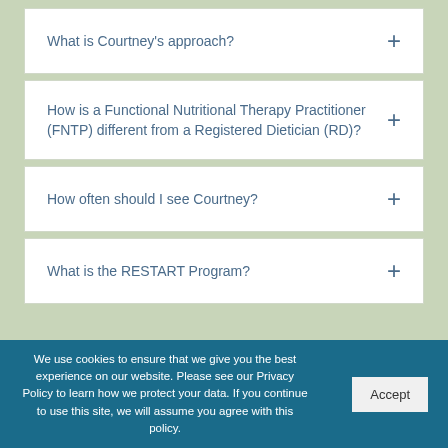What is Courtney's approach? +
How is a Functional Nutritional Therapy Practitioner (FNTP) different from a Registered Dietician (RD)? +
How often should I see Courtney? +
What is the RESTART Program? +
We use cookies to ensure that we give you the best experience on our website. Please see our Privacy Policy to learn how we protect your data. If you continue to use this site, we will assume you agree with this policy.